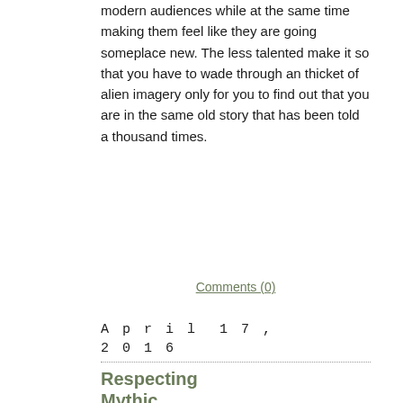modern audiences while at the same time making them feel like they are going someplace new. The less talented make it so that you have to wade through an thicket of alien imagery only for you to find out that you are in the same old story that has been told a thousand times.
Comments (0)
April 17, 2016
Respecting Mythic